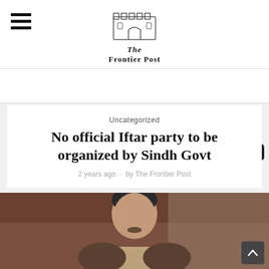The Frontier Post
Uncategorized
No official Iftar party to be organized by Sindh Govt
2 years ago · by The Frontier Post
[Figure (photo): Photo of a man in a brown jacket speaking, in an indoor setting with reddish-brown walls]